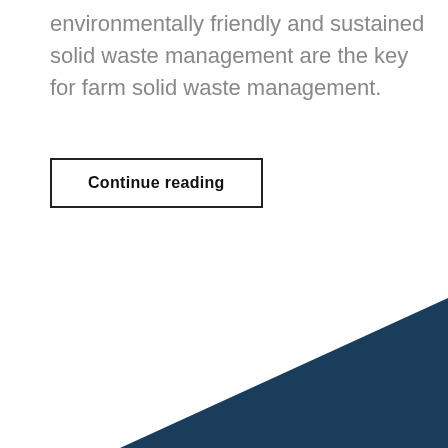environmentally friendly and sustained solid waste management are the key for farm solid waste management.
Continue reading
[Figure (illustration): Dark navy blue triangle/chevron shape in the bottom-right corner of the page, pointing left, used as a decorative design element.]